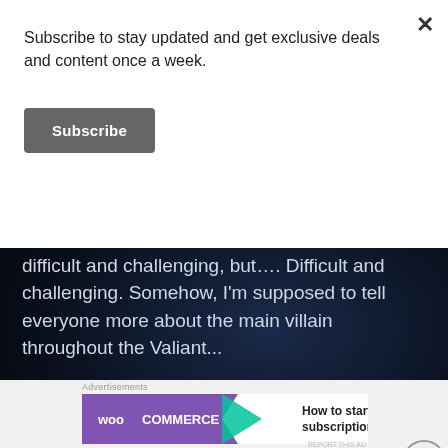Subscribe to stay updated and get exclusive deals and content once a week.
Subscribe
Writing this backstory not only is going to be difficult and challenging, but…. Difficult and challenging. Somehow, I'm supposed to tell everyone more about the main villain throughout the Valiant...
Continue Reading  >
[Figure (screenshot): WooCommerce advertisement banner: How to start selling subscriptions online]
Advertisements